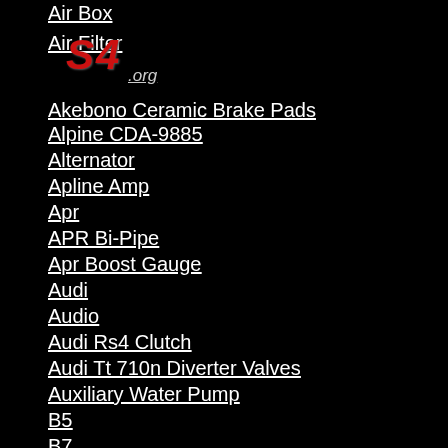Air Box
[Figure (logo): S4 logo with .org website text overlapping Air Filter link]
Akebono Ceramic Brake Pads
Alpine CDA-9885
Alternator
Apline Amp
Apr
APR Bi-Pipe
Apr Boost Gauge
Audi
Audio
Audi Rs4 Clutch
Audi Tt 710n Diverter Valves
Auxiliary Water Pump
B5
B7
B8.5
B8.5 Exhaust
B8 S4